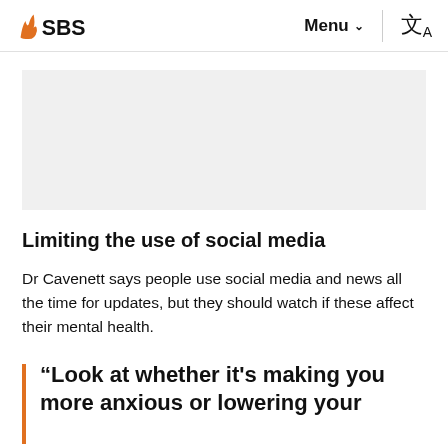SBS  Menu  [language icon]
Limiting the use of social media
Dr Cavenett says people use social media and news all the time for updates, but they should watch if these affect their mental health.
“Look at whether it’s making you more anxious or lowering your